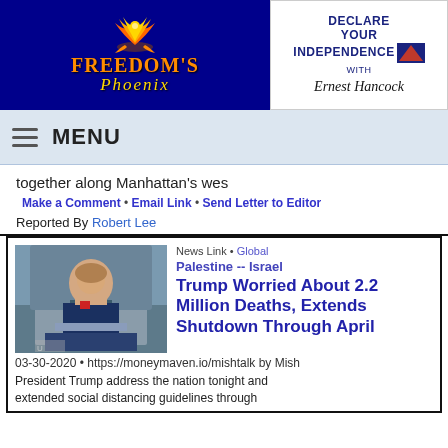[Figure (logo): Freedom's Phoenix logo with phoenix bird on dark blue background]
[Figure (logo): Declare Your Independence with Ernest Hancock logo]
MENU
together along Manhattan's wes
Make a Comment • Email Link • Send Letter to Editor
Reported By Robert Lee
News Link • Global
Palestine -- Israel
[Figure (photo): President Trump speaking at podium outdoors]
Trump Worried About 2.2 Million Deaths, Extends Shutdown Through April
03-30-2020 • https://moneymaven.io/mishtalk by Mish
President Trump address the nation tonight and extended social distancing guidelines through